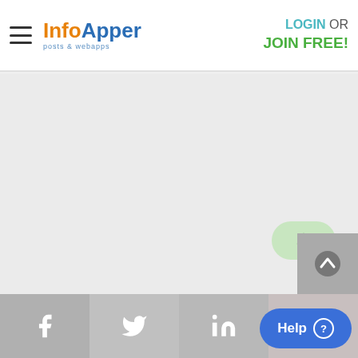[Figure (screenshot): InfoApper website header with hamburger menu, logo, and LOGIN OR JOIN FREE! navigation]
[Figure (other): Green rounded notification bell button in upper right area]
[Figure (other): Gray scroll-to-top arrow button in lower right]
Social media icons bar: Facebook, Twitter, LinkedIn, Pinterest; Help button
Help